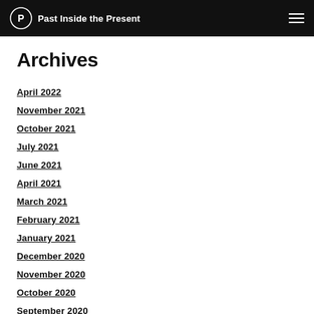Past Inside the Present
Archives
April 2022
November 2021
October 2021
July 2021
June 2021
April 2021
March 2021
February 2021
January 2021
December 2020
November 2020
October 2020
September 2020